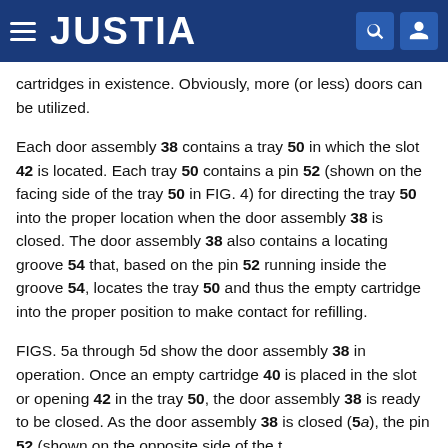JUSTIA
cartridges in existence. Obviously, more (or less) doors can be utilized.
Each door assembly 38 contains a tray 50 in which the slot 42 is located. Each tray 50 contains a pin 52 (shown on the facing side of the tray 50 in FIG. 4) for directing the tray 50 into the proper location when the door assembly 38 is closed. The door assembly 38 also contains a locating groove 54 that, based on the pin 52 running inside the groove 54, locates the tray 50 and thus the empty cartridge into the proper position to make contact for refilling.
FIGS. 5a through 5d show the door assembly 38 in operation. Once an empty cartridge 40 is placed in the slot or opening 42 in the tray 50, the door assembly 38 is ready to be closed. As the door assembly 38 is closed (5a), the pin 52 (shown on the opposite side of the t...